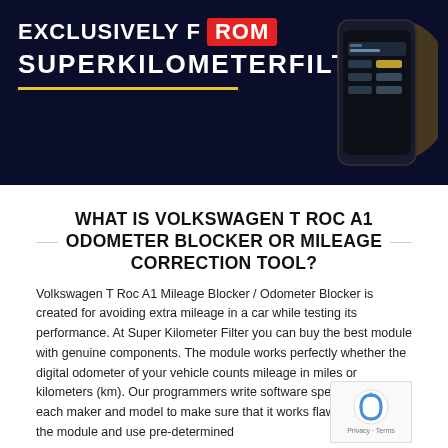[Figure (screenshot): Dark navy banner with text 'EXCLUSIVELY FROM SUPERKILOMETERFILTER' in white bold uppercase, with a red button/badge, a yellow horizontal line, and a phone mockup showing app UI on the right side.]
WHAT IS VOLKSWAGEN T ROC A1 ODOMETER BLOCKER OR MILEAGE CORRECTION TOOL?
Volkswagen T Roc A1 Mileage Blocker / Odometer Blocker is created for avoiding extra mileage in a car while testing its performance. At Super Kilometer Filter you can buy the best module with genuine components. The module works perfectly whether the digital odometer of your vehicle counts mileage in miles or kilometers (km). Our programmers write software specifically for each maker and model to make sure that it works flawlessly. Install the module and use pre-determined